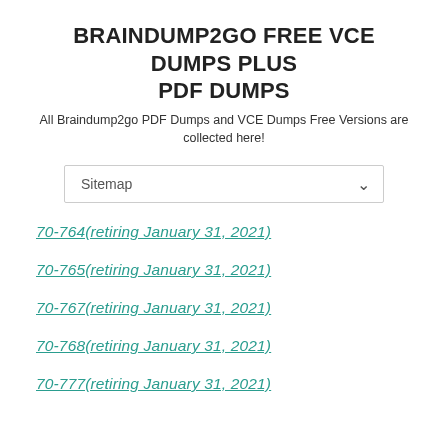BRAINDUMP2GO FREE VCE DUMPS PLUS PDF DUMPS
All Braindump2go PDF Dumps and VCE Dumps Free Versions are collected here!
Sitemap
70-764(retiring January 31, 2021)
70-765(retiring January 31, 2021)
70-767(retiring January 31, 2021)
70-768(retiring January 31, 2021)
70-777(retiring January 31, 2021)